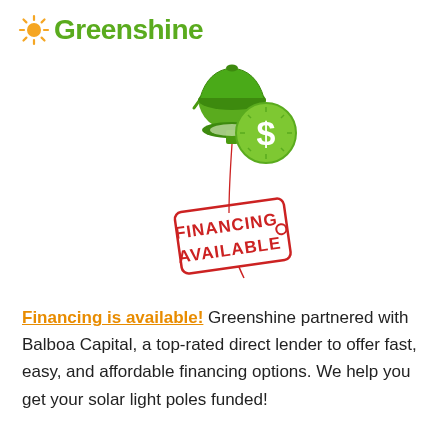[Figure (logo): Greenshine logo with orange sunburst icon and green text]
[Figure (illustration): Illustration of a green solar street light lamp with a green clock/dollar coin and a red 'FINANCING AVAILABLE' price tag hanging below]
Financing is available! Greenshine partnered with Balboa Capital, a top-rated direct lender to offer fast, easy, and affordable financing options. We help you get your solar light poles funded!